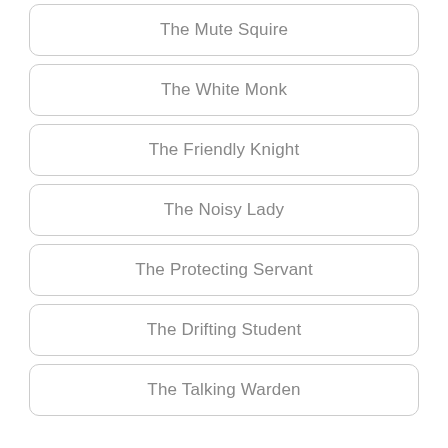The Mute Squire
The White Monk
The Friendly Knight
The Noisy Lady
The Protecting Servant
The Drifting Student
The Talking Warden